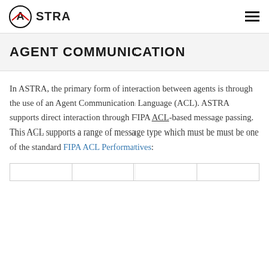ASTRA
AGENT COMMUNICATION
In ASTRA, the primary form of interaction between agents is through the use of an Agent Communication Language (ACL). ASTRA supports direct interaction through FIPA ACL-based message passing. This ACL supports a range of message type which must be must be one of the standard FIPA ACL Performatives: